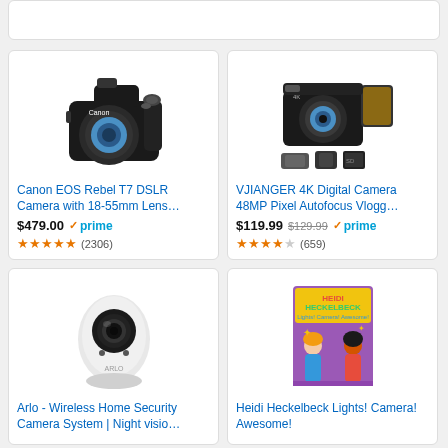[Figure (screenshot): Amazon product search results page showing 4 camera/related products in a 2x2 grid with thumbnails, titles, prices, and ratings.]
Canon EOS Rebel T7 DSLR Camera with 18-55mm Lens…
$479.00 prime (2306 reviews, 5 stars)
VJIANGER 4K Digital Camera 48MP Pixel Autofocus Vlogg…
$119.99 $129.99 prime (659 reviews, 3.5 stars)
Arlo - Wireless Home Security Camera System | Night visio…
Heidi Heckelbeck Lights! Camera! Awesome!